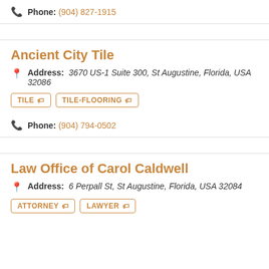Phone: (904) 827-1915
Ancient City Tile
Address: 3670 US-1 Suite 300, St Augustine, Florida, USA 32086
TILE
TILE-FLOORING
Phone: (904) 794-0502
Law Office of Carol Caldwell
Address: 6 Perpall St, St Augustine, Florida, USA 32084
ATTORNEY
LAWYER